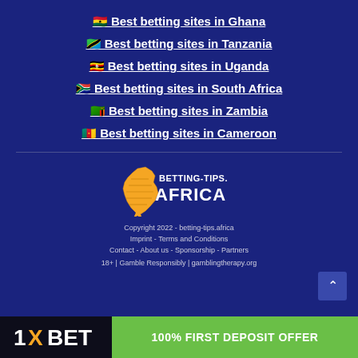🇬🇭 Best betting sites in Ghana
🇹🇿 Best betting sites in Tanzania
🇺🇬 Best betting sites in Uganda
🇿🇦 Best betting sites in South Africa
🇿🇲 Best betting sites in Zambia
🇨🇲 Best betting sites in Cameroon
[Figure (logo): Betting-Tips.Africa logo with Africa continent icon in gold and white text]
Copyright 2022 - betting-tips.africa
Imprint - Terms and Conditions
Contact - About us - Sponsorship - Partners
18+ | Gamble Responsibly | gamblingtherapy.org
[Figure (infographic): 1XBET ad bar with 100% FIRST DEPOSIT OFFER button in green]